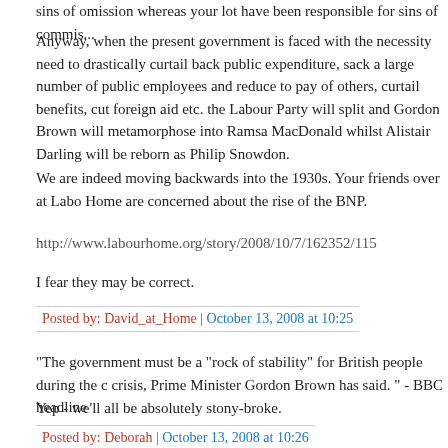sins of omission whereas your lot have been responsible for sins of commis...
Anyway, when the present government is faced with the necessity need to drastically curtail back public expenditure, sack a large number of public employees and reduce to pay of others, curtail benefits, cut foreign aid etc. the Labour Party will split and Gordon Brown will metamorphose into Ramsa MacDonald whilst Alistair Darling will be reborn as Philip Snowdon.
We are indeed moving backwards into the 1930s. Your friends over at Labo Home are concerned about the rise of the BNP.
http://www.labourhome.org/story/2008/10/7/162352/115
I fear they may be correct.
Posted by: David_at_Home | October 13, 2008 at 10:25
"The government must be a "rock of stability" for British people during the c crisis, Prime Minister Gordon Brown has said. " - BBC headline
Yep - we'll all be absolutely stony-broke.
Posted by: Deborah | October 13, 2008 at 10:26
We should not lose sight of Greg Hands' article yesterday on the Swedish...